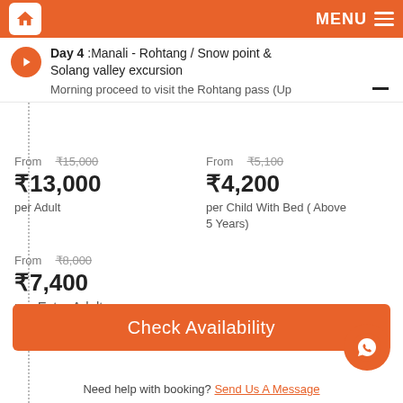MENU
Day 4 :Manali - Rohtang / Snow point & Solang valley excursion
Morning proceed to visit the Rohtang pass (Up
From ₹15,000
₹13,000 per Adult
From ₹5,100
₹4,200
per Child With Bed ( Above 5 Years)
From ₹8,000
₹7,400 per Extra Adult
Check Availability
Need help with booking? Send Us A Message